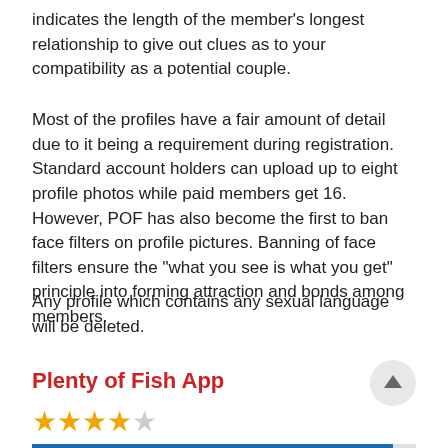indicates the length of the member's longest relationship to give out clues as to your compatibility as a potential couple.
Most of the profiles have a fair amount of detail due to it being a requirement during registration. Standard account holders can upload up to eight profile photos while paid members get 16. However, POF has also become the first to ban face filters on profile pictures. Banning of face filters ensure the "what you see is what you get" principle into forming attraction and bonds among members.
Any profile which contains any sexual language will be deleted.
Plenty of Fish App
★★★★☆